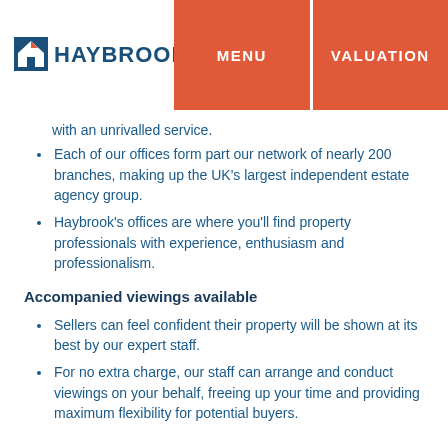HAYBROOK | MENU | VALUATION
with an unrivalled service.
Each of our offices form part our network of nearly 200 branches, making up the UK's largest independent estate agency group.
Haybrook's offices are where you'll find property professionals with experience, enthusiasm and professionalism.
Accompanied viewings available
Sellers can feel confident their property will be shown at its best by our expert staff.
For no extra charge, our staff can arrange and conduct viewings on your behalf, freeing up your time and providing maximum flexibility for potential buyers.